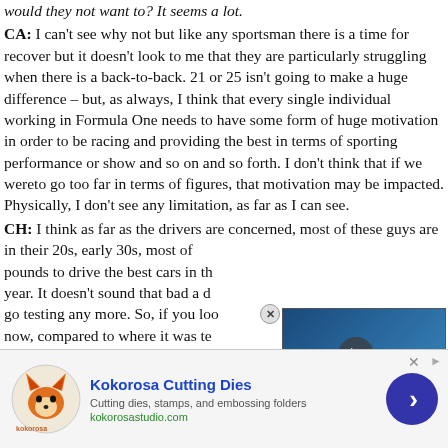would they not want to? It seems a lot. CA: I can't see why not but like any sportsman there is a time for recover but it doesn't look to me that they are particularly struggling when there is a back-to-back. 21 or 25 isn't going to make a huge difference – but, as always, I think that every single individual working in Formula One needs to have some form of huge motivation in order to be racing and providing the best in terms of sporting performance or show and so on and so forth. I don't think that if we wereto go too far in terms of figures, that motivation may be impacted. Physically, I don't see any limitation, as far as I can see. CH: I think as far as the drivers are concerned, most of these guys are in their 20s, early 30s, most of them are paid millions of pounds to drive the best cars in the world for 30-odd weekends a year. It doesn't sound that bad a deal. Also they don't have to go testing any more. So, if you look at the calendar as it is now, compared to where it was ten years ago where you'd have been leaving here on Sunday to go straight to Jerez to run around
[Figure (screenshot): Video player overlay showing a Formula 1 driver with SI (Sports Illustrated) badge and caption: 'The eight-time grand prix winner is the only McLaren driver to win an F1 race in the last decade, but now, he's a free agent.']
[Figure (infographic): Advertisement banner for Kokorosa Cutting Dies with fox logo, tagline 'Cutting dies, stamps, and embossing folders', URL kokorosastudio.com, and a blue circular arrow button]